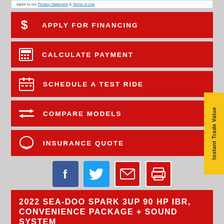agree to our Privacy Statement & Terms of Use.
APPLY FOR FINANCING
CALCULATE PAYMENT
SCHEDULE A TEST RIDE
COMPARE MODELS
INSURANCE QUOTE
[Figure (infographic): Social share icons: Facebook, Twitter, Email, Print]
2022 SEA-DOO SPARK 3UP 90 HP IBR, CONVENIENCE PACKAGE + SOUND SYSTEM • $8,599